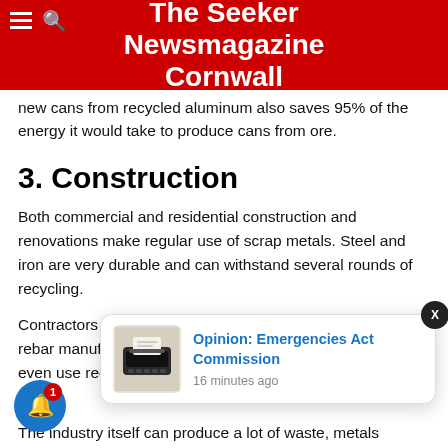The Seeker Newsmagazine Cornwall
new cans from recycled aluminum also saves 95% of the energy it would take to produce cans from ore.
3. Construction
Both commercial and residential construction and renovations make regular use of scrap metals. Steel and iron are very durable and can withstand several rounds of recycling.
Contractors often use recycled metal for plumbing, beams, rebar manufacturing, windows, and roofing. Builders can even use recycled metals to reinforce bridges or proj... just as st...
The industry itself can produce a lot of waste, metals
[Figure (screenshot): Popup notification card with typewriter image linking to 'Opinion: Emergencies Act Commission', 16 minutes ago]